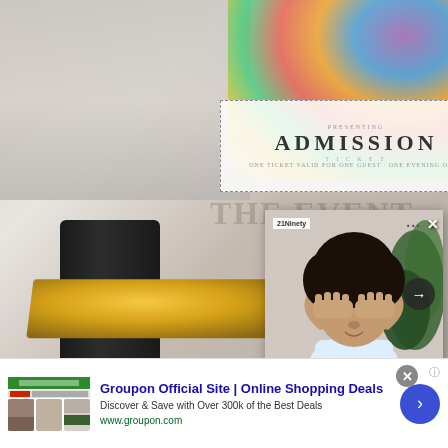[Figure (screenshot): Screenshot of a web page showing an article card popup overlay on top of a background with a party/celebration scene. The popup shows a woman covering her eyes with her hands, with an article title about female ejaculation from 21Ninety. Below is a Groupon advertisement banner.]
Female Ejaculation: What It Is And Why You Shouldn't Be Ashamed Of It - 21Ninety
Groupon Official Site | Online Shopping Deals
Discover & Save with Over 300k of the Best Deals
www.groupon.com